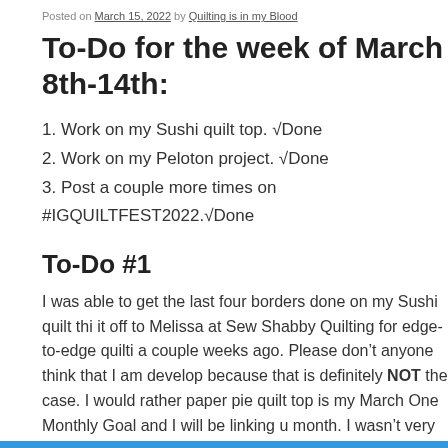Posted on March 15, 2022 by Quilting is in my Blood
To-Do for the week of March 8th-14th:
1. Work on my Sushi quilt top. √Done
2. Work on my Peloton project. √Done
3. Post a couple more times on #IGQUILTFEST2022.√Done
To-Do #1
I was able to get the last four borders done on my Sushi quilt thi… it off to Melissa at Sew Shabby Quilting for edge-to-edge quilti… a couple weeks ago. Please don't anyone think that I am develop… because that is definitely NOT the case. I would rather paper pie… quilt top is my March One Monthly Goal and I will be linking u… month. I wasn't very happy with the pic below, but I just wante… it in the house and getting it ready to send to Melissa.